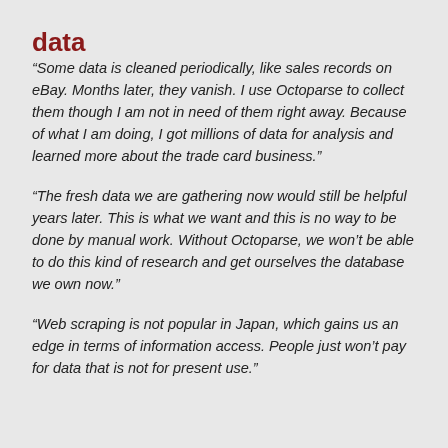data
“Some data is cleaned periodically, like sales records on eBay. Months later, they vanish. I use Octoparse to collect them though I am not in need of them right away. Because of what I am doing, I got millions of data for analysis and learned more about the trade card business.”
“The fresh data we are gathering now would still be helpful years later. This is what we want and this is no way to be done by manual work. Without Octoparse, we won’t be able to do this kind of research and get ourselves the database we own now.”
“Web scraping is not popular in Japan, which gains us an edge in terms of information access. People just won’t pay for data that is not for present use.”